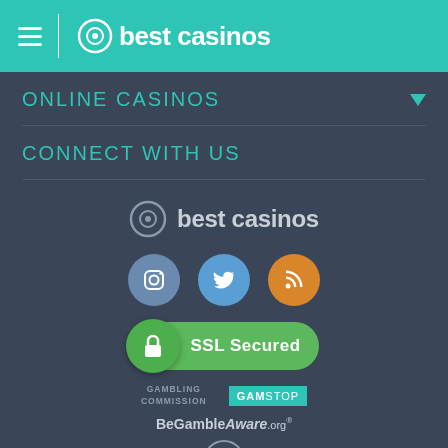best casinos
ONLINE CASINOS
CONNECT WITH US
[Figure (logo): best casinos logo with icon]
[Figure (illustration): Social media icons: Instagram, Twitter, RSS feed]
[Figure (illustration): SSL Secured badge with green background and lock icon]
[Figure (illustration): Trust logos: Gambling Commission, GamStop, BeGambleAware.org, 18+ badge]
Gambling can be addictive, please play